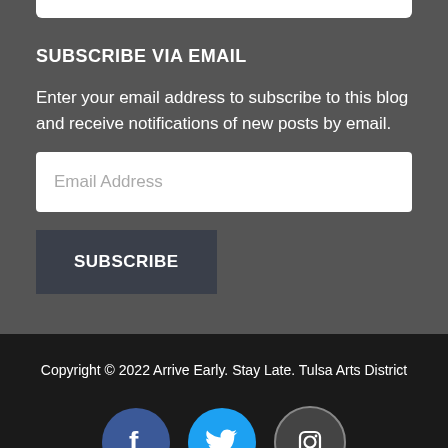SUBSCRIBE VIA EMAIL
Enter your email address to subscribe to this blog and receive notifications of new posts by email.
Email Address
SUBSCRIBE
Copyright © 2022 Arrive Early. Stay Late. Tulsa Arts District
[Figure (infographic): Three social media icons in circles: Facebook (dark blue), Twitter (light blue), Instagram (dark gray)]